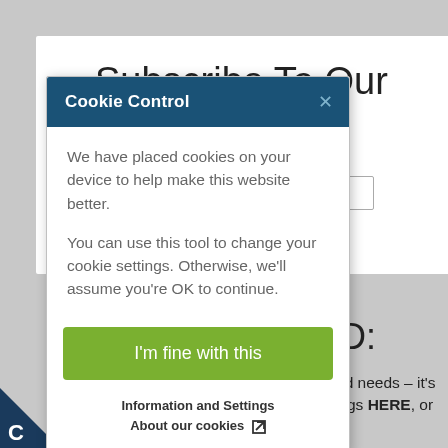Subscribe To Our
[Figure (screenshot): Cookie Control modal dialog overlaid on a webpage. The modal has a dark blue header with 'Cookie Control' title and X close button, white body with cookie consent text, a green 'I'm fine with this' button, and 'Information and Settings' / 'About our cookies' footer links. Behind the modal is a webpage with 'Subscribe To Our' heading, an input box, 'RED:' text, and body text about finding the perfect match for lifestyle and needs, with a phone number 910-679-4988.]
We have placed cookies on your device to help make this website better.
You can use this tool to change your cookie settings. Otherwise, we'll assume you're OK to continue.
I'm fine with this
Information and Settings
About our cookies
ll find the perfect match for your lifestyle and needs – it's what we do! Take a look at our current listings HERE, or give us a call at 910-679-4988